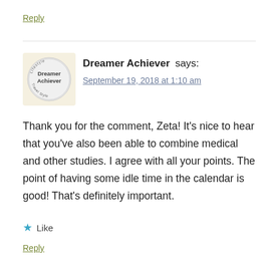Reply
[Figure (logo): Dreamer Achiever blog logo — circular badge with text 'Lifestyle Dreamer Achiever Travel Style' on a light yellow/pink background]
Dreamer Achiever says:
September 19, 2018 at 1:10 am
Thank you for the comment, Zeta! It's nice to hear that you've also been able to combine medical and other studies. I agree with all your points. The point of having some idle time in the calendar is good! That's definitely important.
★ Like
Reply